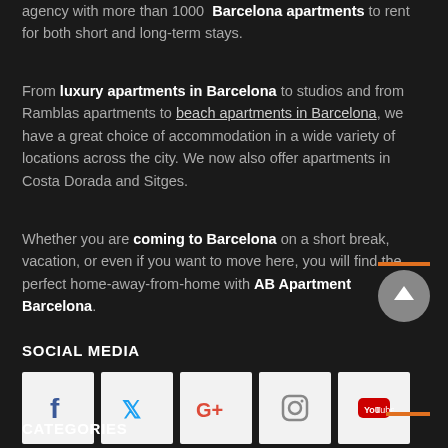agency with more than 1000 Barcelona apartments to rent for both short and long-term stays.
From luxury apartments in Barcelona to studios and from Ramblas apartments to beach apartments in Barcelona, we have a great choice of accommodation in a wide variety of locations across the city. We now also offer apartments in Costa Dorada and Sitges.
Whether you are coming to Barcelona on a short break, vacation, or even if you want to move here, you will find the perfect home-away-from-home with AB Apartment Barcelona.
SOCIAL MEDIA
[Figure (infographic): Social media icons for Facebook, Twitter, Google+, Instagram, YouTube on light background squares]
CATEGORIES